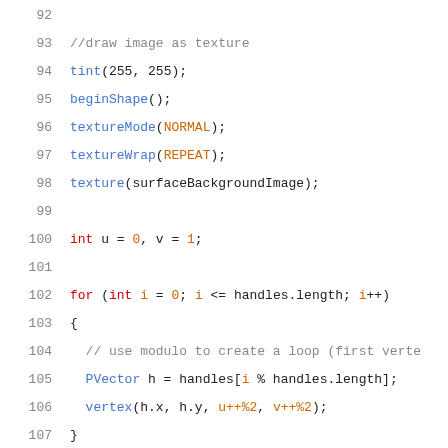Code listing lines 92–114 showing Processing/Java code for drawing image as texture and surface name
92
93    //draw image as texture
94    tint(255, 255);
95    beginShape();
96    textureMode(NORMAL);
97    textureWrap(REPEAT);
98    texture(surfaceBackgroundImage);
99
100   int u = 0, v = 1;
101
102   for (int i = 0; i <= handles.length; i++)
103   {
104     // use modulo to create a loop (first verte
105     PVector h = handles[i % handles.length];
106     vertex(h.x, h.y, u++%2, v++%2);
107   }
108
109   endShape();
110
111   //draw name of surface
112   textSize(textSize);
113   fill(textColor);
114   text(name, center.x - (textWidth(name) / 2),